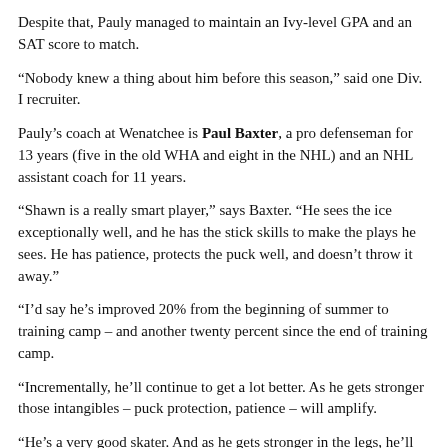Despite that, Pauly managed to maintain an Ivy-level GPA and an SAT score to match.
“Nobody knew a thing about him before this season,” said one Div. I recruiter.
Pauly’s coach at Wenatchee is Paul Baxter, a pro defenseman for 13 years (five in the old WHA and eight in the NHL) and an NHL assistant coach for 11 years.
“Shawn is a really smart player,” says Baxter. “He sees the ice exceptionally well, and he has the stick skills to make the plays he sees. He has patience, protects the puck well, and doesn’t throw it away.”
“I’d say he’s improved 20% from the beginning of summer to training camp – and another twenty percent since the end of training camp.
“Incrementally, he’ll continue to get a lot better. As he gets stronger those intangibles – puck protection, patience – will amplify.
“He’s a very good skater. And as he gets stronger in the legs, he’ll get quicker.